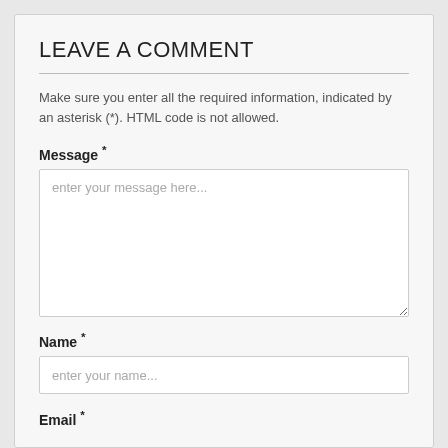LEAVE A COMMENT
Make sure you enter all the required information, indicated by an asterisk (*).  HTML code is not allowed.
Message *
enter your message here...
Name *
enter your name...
Email *